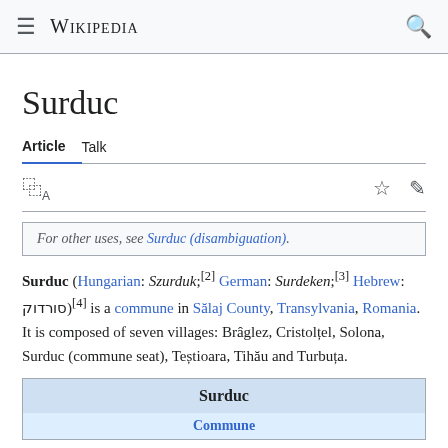Wikipedia
Surduc
Article  Talk
For other uses, see Surduc (disambiguation).
Surduc (Hungarian: Szurduk;[2] German: Surdeken;[3] Hebrew: סורדוק)[4] is a commune in Sălaj County, Transylvania, Romania. It is composed of seven villages: Brâglez, Cristolțel, Solona, Surduc (commune seat), Tești­oara, Tihău and Turbița.
| Surduc |
| --- |
| Commune |